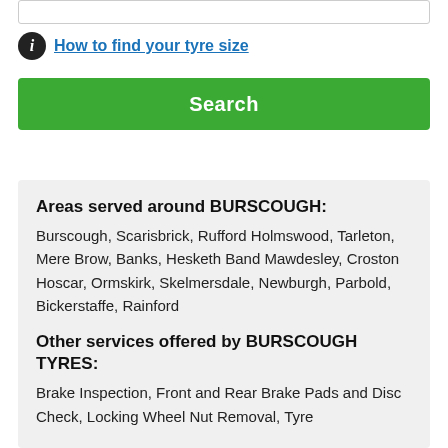[search input bar]
How to find your tyre size
Search
Areas served around BURSCOUGH:
Burscough, Scarisbrick, Rufford Holmswood, Tarleton, Mere Brow, Banks, Hesketh Band Mawdesley, Croston Hoscar, Ormskirk, Skelmersdale, Newburgh, Parbold, Bickerstaffe, Rainford
Other services offered by BURSCOUGH TYRES:
Brake Inspection, Front and Rear Brake Pads and Disc Check, Locking Wheel Nut Removal, Tyre